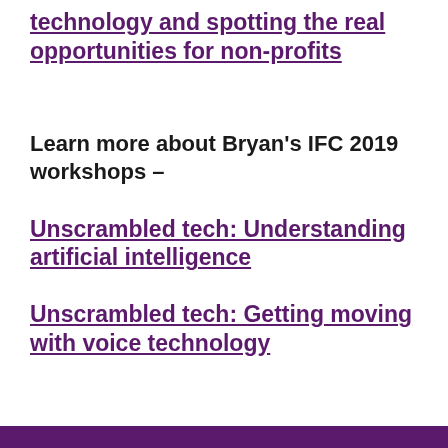technology and spotting the real opportunities for non-profits
Learn more about Bryan's IFC 2019 workshops –
Unscrambled tech: Understanding artificial intelligence
Unscrambled tech: Getting moving with voice technology